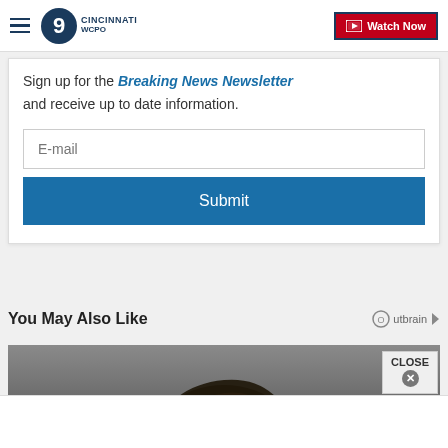WCPO 9 Cincinnati — Watch Now
Sign up for the Breaking News Newsletter and receive up to date information.
E-mail
Submit
You May Also Like
[Figure (photo): Photo of a person, partially visible, showing top of head with dark hair against a grey background]
CLOSE